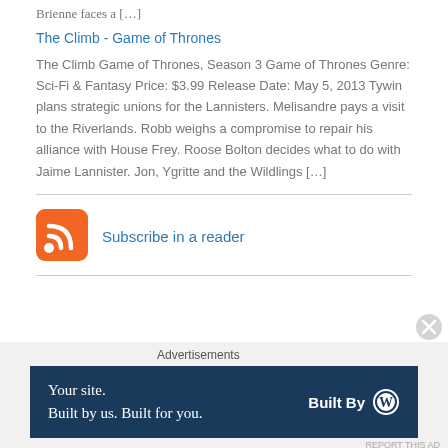Brienne faces a […]
The Climb - Game of Thrones
The Climb Game of Thrones, Season 3 Game of Thrones Genre: Sci-Fi & Fantasy Price: $3.99 Release Date: May 5, 2013 Tywin plans strategic unions for the Lannisters. Melisandre pays a visit to the Riverlands. Robb weighs a compromise to repair his alliance with House Frey. Roose Bolton decides what to do with Jaime Lannister. Jon, Ygritte and the Wildlings […]
[Figure (logo): RSS feed icon - orange rounded square with white RSS signal symbol]
Subscribe in a reader
Advertisements
[Figure (other): Advertisement banner: dark navy background with text 'Your site. Built by us. Built for you.' and 'Built By' with WordPress logo]